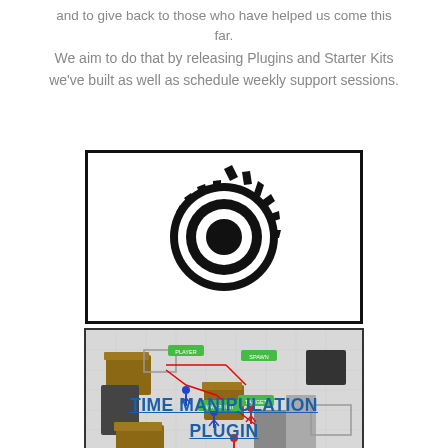and to give back to those who have helped us come this far.
We aim to do that by releasing Plugins and Starter Kits we've built as well as schedule weekly support sessions.
[Figure (illustration): A black gear/cog icon with concentric circles in the center on a white background, inside a black-bordered rectangle.]
[Figure (screenshot): A 3D game screenshot showing a top-down isometric view of a tiled floor area with character figures (blue and red) and wooden box obstacles, with green UI labels and red path lines.]
TIME MANIPULATION PLUGIN